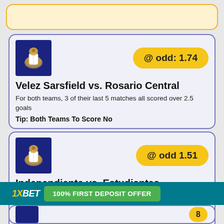[Figure (other): Top decorative/ad banner with orange border on light yellow background]
[Figure (other): Team logo for Velez Sarsfield on dark blue background with feathered character]
@ odd: 1.74
Velez Sarsfield vs. Rosario Central
For both teams, 3 of their last 5 matches all scored over 2.5 goals
Tip: Both Teams To Score No
[Figure (other): Team logo on dark blue background]
@ odd 1.51
Independiente vs. Estudiantes
Independiente W2 D1 L2 in their last 5 matches. Estudiantes W3 D1 L1 in their last 5 matches. Estudiantes have better H2H record.
Tip: Double Chance X2
[Figure (other): 1XBET advertisement banner with 100% FIRST DEPOSIT OFFER button]
[Figure (other): Partial card at bottom with team logo and partial odd badge showing 8]